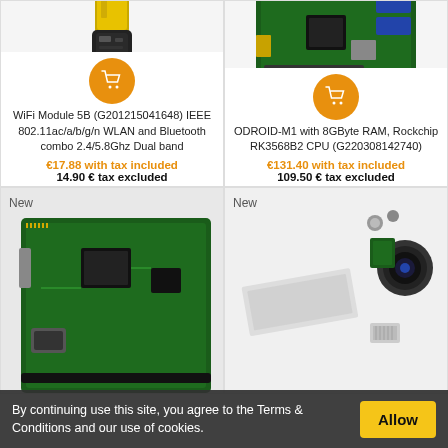[Figure (photo): USB WiFi dongle module (gold connector, top-cropped)]
[Figure (photo): ODROID-M1 single board computer, top-cropped view]
[Figure (other): Orange shopping cart icon button]
[Figure (other): Orange shopping cart icon button]
WiFi Module 5B (G201215041648) IEEE 802.11ac/a/b/g/n WLAN and Bluetooth combo 2.4/5.8Ghz Dual band
ODROID-M1 with 8GByte RAM, Rockchip RK3568B2 CPU (G220308142740)
€17.88 with tax included
14.90 € tax excluded
€131.40 with tax included
109.50 € tax excluded
[Figure (photo): New - Green circuit board/expansion board, bottom-left cropped]
[Figure (photo): New - Camera module kit with ribbon cable and heatsinks]
By continuing use this site, you agree to the Terms & Conditions and our use of cookies.
Allow